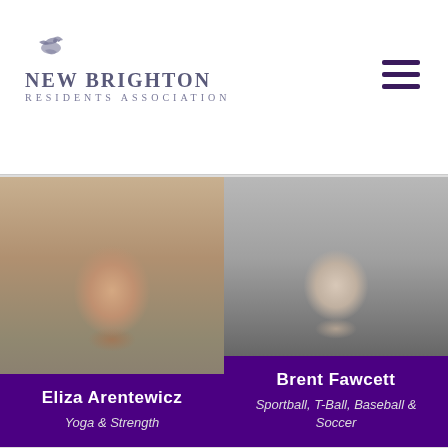[Figure (logo): New Brighton Residents Association logo with bird icon and text]
[Figure (photo): Photo of Eliza Arentewicz, smiling woman with dark hair]
Eliza Arentewicz
Yoga & Strength
[Figure (photo): Photo of Brent Fawcett, smiling man with medal around neck]
Brent Fawcett
Sportball, T-Ball, Baseball & Soccer
[Figure (photo): Partial photo of a woman (bottom row, left)]
[Figure (photo): Partial photo of a man in a white cap (bottom row, right, black and white)]